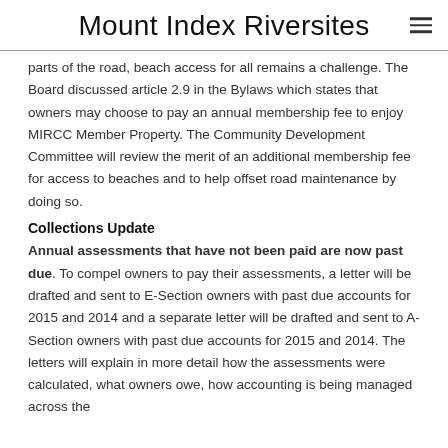Mount Index Riversites
parts of the road, beach access for all remains a challenge. The Board discussed article 2.9 in the Bylaws which states that owners may choose to pay an annual membership fee to enjoy MIRCC Member Property. The Community Development Committee will review the merit of an additional membership fee for access to beaches and to help offset road maintenance by doing so.
Collections Update
Annual assessments that have not been paid are now past due. To compel owners to pay their assessments, a letter will be drafted and sent to E-Section owners with past due accounts for 2015 and 2014 and a separate letter will be drafted and sent to A-Section owners with past due accounts for 2015 and 2014. The letters will explain in more detail how the assessments were calculated, what owners owe, how accounting is being managed across the